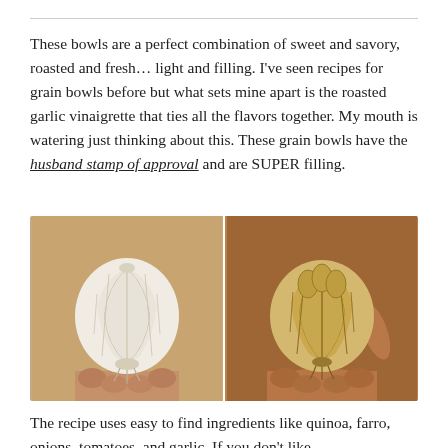These bowls are a perfect combination of sweet and savory, roasted and fresh… light and filling. I've seen recipes for grain bowls before but what sets mine apart is the roasted garlic vinaigrette that ties all the flavors together. My mouth is watering just thinking about this. These grain bowls have the husband stamp of approval and are SUPER filling.
[Figure (photo): Two side-by-side photos of hands holding heads of garlic — left photo shows a raw white garlic bulb, right photo shows a roasted/golden garlic bulb, both held up against a warm tan/brown background.]
The recipe uses easy to find ingredients like quinoa, farro, onions, tomatoes, and garlic. If you don't like